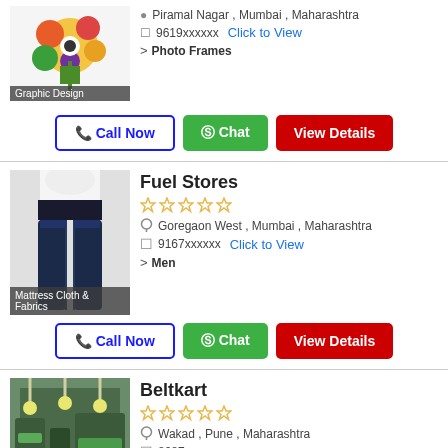[Figure (photo): Graphic design thumbnail showing colorful flower artwork]
Graphic Design
Piramal Nagar , Mumbai , Maharashtra
9619xxxxxx  Click to View
> Photo Frames
Call Now  Chat  View Details
Fuel Stores
[Figure (photo): Jeans/denim trousers product photo with Mattress Cloth & Fabrics label]
Mattress Cloth & Fabrics
☆☆☆☆☆
Goregaon West , Mumbai , Maharashtra
9167xxxxxx  Click to View
> Men
Call Now  Chat  View Details
Beltkart
[Figure (photo): Industrial yarn/fabric machinery photo with Yarn label]
Yarn
☆☆☆☆☆
Wakad , Pune , Maharashtra
8087xxxxxx  Click to View
> Belts